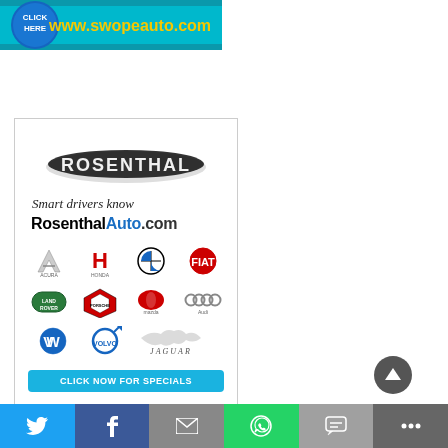[Figure (illustration): Swope Auto advertisement banner showing 'CLICK HERE' button and www.swopeauto.com URL on a blue/teal background]
[Figure (illustration): Rosenthal Auto dealer advertisement featuring Rosenthal logo, tagline 'Smart drivers know RosenthalAuto.com', car brand logos (Acura, Honda, BMW, Fiat, Land Rover, Porsche, Mazda, Audi, Volkswagen, Volvo, Jaguar), and a 'CLICK NOW FOR SPECIALS' button]
[Figure (illustration): Social sharing bar at bottom with Twitter, Facebook, Email, WhatsApp, SMS, and More buttons]